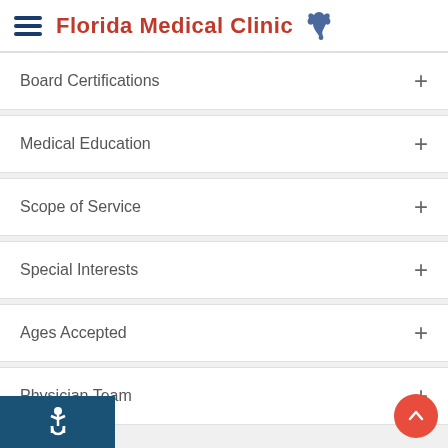[Figure (logo): Florida Medical Clinic logo with hamburger menu icon and Florida state outline]
Board Certifications
Medical Education
Scope of Service
Special Interests
Ages Accepted
Physician Team
[Figure (infographic): Accessibility wheelchair icon in white on blue background in footer, and red scroll-to-top button with upward chevron]